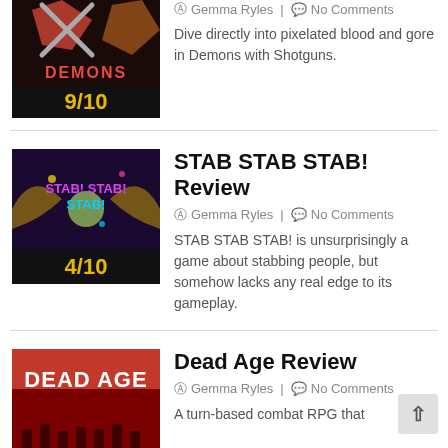[Figure (screenshot): Game thumbnail for Demons with Shotguns showing DEMONS text in red with score 9/10 in yellow]
Gemma Ryles | No Comments
Dive directly into pixelated blood and gore in Demons with Shotguns.
STAB STAB STAB! Review
[Figure (screenshot): Game thumbnail for STAB STAB STAB showing STAB! text in purple/pink on dark background with score 4/10 in yellow]
Gemma Ryles | No Comments
STAB STAB STAB! is unsurprisingly a game about stabbing people, but somehow lacks any real edge to its gameplay.
Dead Age Review
[Figure (screenshot): Game thumbnail for Dead Age showing DEAD AGE text in white on red background]
Gemma Ryles | No Comments
A turn-based combat RPG that